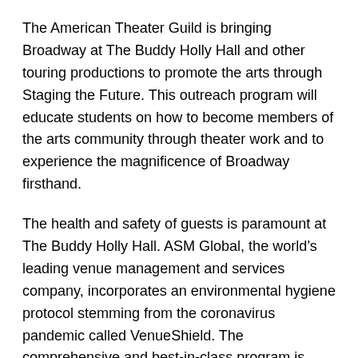The American Theater Guild is bringing Broadway at The Buddy Holly Hall and other touring productions to promote the arts through Staging the Future. This outreach program will educate students on how to become members of the arts community through theater work and to experience the magnificence of Broadway firsthand.
The health and safety of guests is paramount at The Buddy Holly Hall. ASM Global, the world’s leading venue management and services company, incorporates an environmental hygiene protocol stemming from the coronavirus pandemic called VenueShield. The comprehensive and best-in-class program is implemented at 325 ASM Global facilities around the world, including The Buddy Holly Hall. VenueShield provides the highest levels of